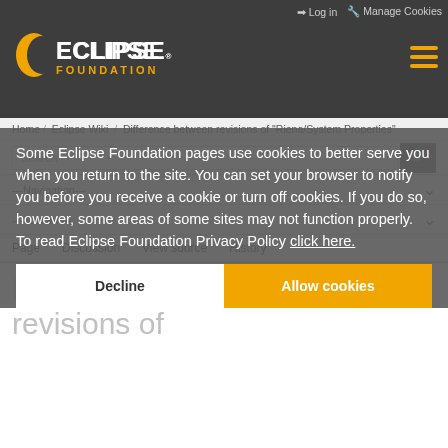Log in   Manage Cookies
[Figure (logo): Eclipse Foundation logo with orange crescent and white ECLIPSE text, orange FOUNDATION text below]
---Navigation---
---Toolbox---
Home / Eclipse Wiki / Difference between revisions of "Riena/System Properties"
Search
Page   Discussion   View source   History
Some Eclipse Foundation pages use cookies to better serve you when you return to the site. You can set your browser to notify you before you receive a cookie or turn off cookies. If you do so, however, some areas of some sites may not function properly. To read Eclipse Foundation Privacy Policy click here.
Difference between revisions of